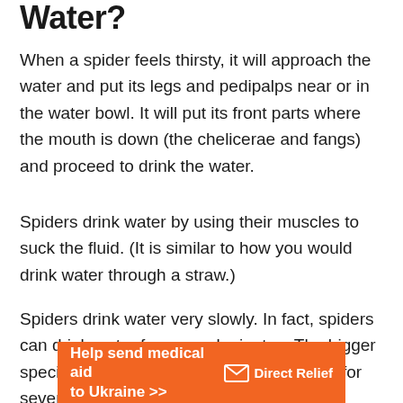Water?
When a spider feels thirsty, it will approach the water and put its legs and pedipalps near or in the water bowl. It will put its front parts where the mouth is down (the chelicerae and fangs) and proceed to drink the water.
Spiders drink water by using their muscles to suck the fluid. (It is similar to how you would drink water through a straw.)
Spiders drink water very slowly. In fact, spiders can drink water for several minutes. The bigger species like the tarantulas can drink water for several hours.
[Figure (infographic): Orange advertisement banner for Direct Relief: 'Help send medical aid to Ukraine >>' with Direct Relief logo (white envelope icon and text).]